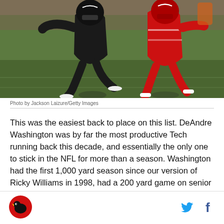[Figure (photo): Football players on a green field — a player in black uniform running, a player in red uniform defending]
Photo by Jackson Laizure/Getty Images
This was the easiest back to place on this list. DeAndre Washington was by far the most productive Tech running back this decade, and essentially the only one to stick in the NFL for more than a season. Washington had the first 1,000 yard season since our version of Ricky Williams in 1998, had a 200 yard game on senior